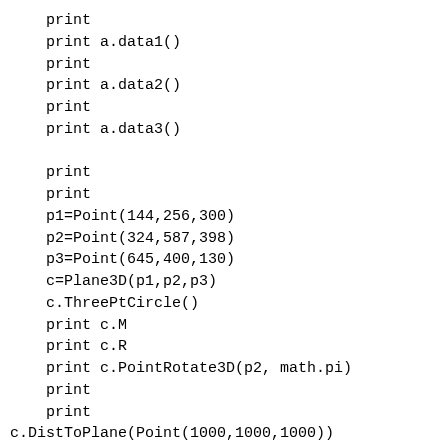print
    print a.data1()
    print
    print a.data2()
    print
    print a.data3()

    print
    print
    p1=Point(144,256,300)
    p2=Point(324,587,398)
    p3=Point(645,400,130)
    c=Plane3D(p1,p2,p3)
    c.ThreePtCircle()
    print c.M
    print c.R
    print c.PointRotate3D(p2, math.pi)
    print
    print
c.DistToPlane(Point(1000,1000,1000))
    print
    print c
    print
    print repr(c)
    print